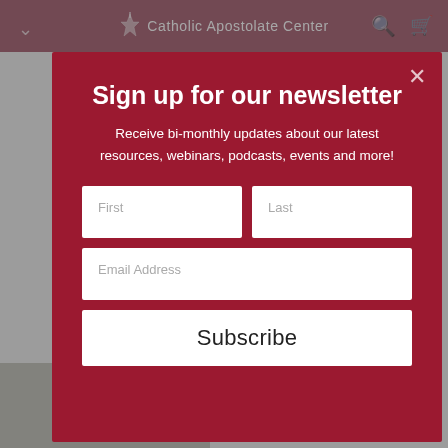Catholic Apostolate Center
Sign up for our newsletter
Receive bi-monthly updates about our latest resources, webinars, podcasts, events and more!
First
Last
Email Address
Subscribe